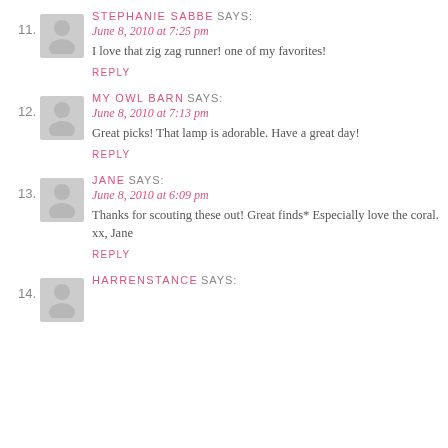11. STEPHANIE SABBE SAYS: June 8, 2010 at 7:25 pm
I love that zig zag runner! one of my favorites!
REPLY
12. MY OWL BARN SAYS: June 8, 2010 at 7:13 pm
Great picks! That lamp is adorable. Have a great day!
REPLY
13. JANE SAYS: June 8, 2010 at 6:09 pm
Thanks for scouting these out! Great finds* Especially love the coral. xx, Jane
REPLY
14. HARRENSTANCE SAYS: